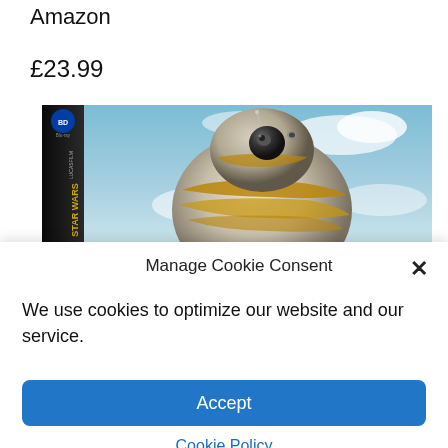Amazon
£23.99
[Figure (photo): Star Wars Blu-ray box set product image showing BB-8 droid against a sky background, with the box spine showing Blu-ray and Lucasfilm logos]
Manage Cookie Consent
We use cookies to optimize our website and our service.
Accept
Cookie Policy